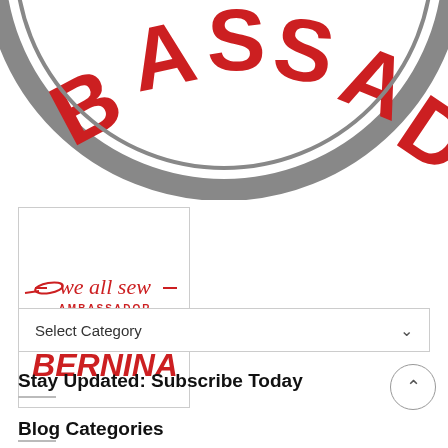[Figure (logo): Partial circular badge with 'BASSAD' text visible in large red letters on a gray/dark circle border, cropped at top]
[Figure (logo): We All Sew Ambassador BERNINA badge: white box with red text 'we all sew' in italic with needle icon, 'AMBASSADOR' in spaced capitals, decorative diamond row in red, and 'BERNINA' in bold red italic]
Blog Categories
Select Category
Stay Updated: Subscribe Today